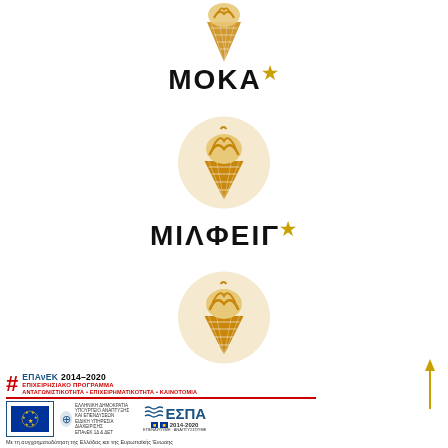[Figure (illustration): Ice cream cone icon in waffle cone, top of page, small, monochrome/orange tones]
ΜΟΚΑ★
[Figure (illustration): Ice cream soft-serve cone icon with orange/golden colors on light beige circular background]
ΜΙΛΦΕΙΓ★
[Figure (illustration): Ice cream soft-serve cone icon with orange/golden colors on light beige circular background]
ΚΑΡΥΔΑ★
ΕΠΑνΕΚ 2014–2020 ΕΠΙΧΕΙΡΗΣΙΑΚΟ ΠΡΟΓΡΑΜΜΑ ΑΝΤΑΓΩΝΙΣΤΙΚΟΤΗΤΑ • ΕΠΙΧΕΙΡΗΜΑΤΙΚΟΤΗΤΑ • ΚΑΙΝΟΤΟΜΙΑ ΕΣΠΑ 2014-2020 Με τη συγχρηματοδότηση της Ελλάδας και της Ευρωπαϊκής Ένωσης